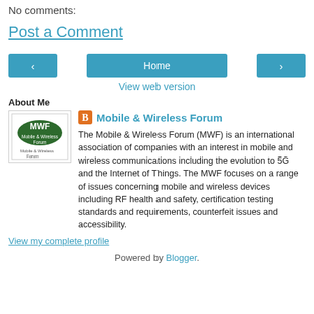No comments:
Post a Comment
[Figure (screenshot): Navigation row with left arrow button, Home button, and right arrow button]
View web version
About Me
[Figure (logo): MWF Mobile & Wireless Forum logo]
Mobile & Wireless Forum
The Mobile & Wireless Forum (MWF) is an international association of companies with an interest in mobile and wireless communications including the evolution to 5G and the Internet of Things. The MWF focuses on a range of issues concerning mobile and wireless devices including RF health and safety, certification testing standards and requirements, counterfeit issues and accessibility.
View my complete profile
Powered by Blogger.